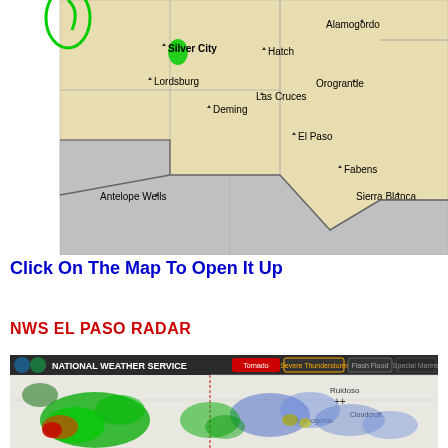[Figure (map): Map showing southern New Mexico and west Texas region with cities: Silver City, Lordsburg, Deming, Hatch, Las Cruces, Alamogordo, Orogrande, El Paso, Fabens, Sierra Blanca, Antelope Wells. Tan/beige land areas with gray area in lower left (Mexico). Green patches near Silver City indicate weather features.]
Click On The Map To Open It Up
NWS EL PASO RADAR
[Figure (map): National Weather Service radar image showing precipitation over southern New Mexico and west Texas. Green and red radar returns visible over Silver City area. Blue radar returns over central/eastern New Mexico near Alamogordo and Ruidoso. Alert bar shows: Tornado, Severe Thunderstorm, Flash Flood, Special Marine.]